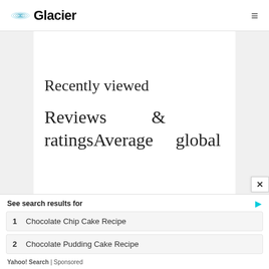Glacier
Recently viewed
Reviews & ratingsAverage global
See search results for
1  Chocolate Chip Cake Recipe
2  Chocolate Pudding Cake Recipe
Yahoo! Search | Sponsored